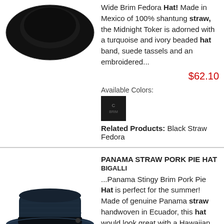[Figure (photo): Black fedora hat viewed from above on white background]
Wide Brim Fedora Hat! Made in Mexico of 100% shantung straw, the Midnight Toker is adorned with a turquoise and ivory beaded hat band, suede tassels and an embroidered...
$62.10
Available Colors:
[Figure (photo): Black color swatch thumbnail]
Related Products: Black Straw Fedora
PANAMA STRAW PORK PIE HAT
BIGALLI
[Figure (photo): Dark navy Panama straw pork pie hat on white background]
...Panama Stingy Brim Pork Pie Hat is perfect for the summer! Made of genuine Panama straw handwoven in Ecuador, this hat would look great with a Hawaiian style shirt!  Approx. 3 5/8" Telescope Crown 1 1/2" Stingy Snap Brim - Made of 100%